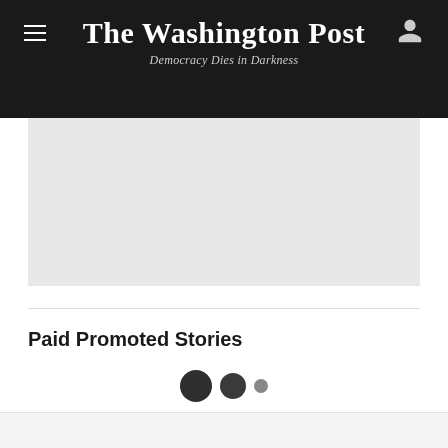The Washington Post — Democracy Dies in Darkness
[Figure (other): Large light gray image placeholder rectangle]
Paid Promoted Stories
[Figure (other): Three loading dots of decreasing size indicating content loading]